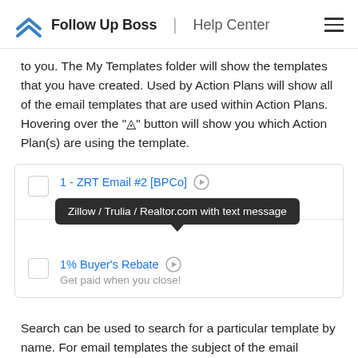Follow Up Boss | Help Center
to you. The My Templates folder will show the templates that you have created. Used by Action Plans will show all of the email templates that are used within Action Plans. Hovering over the "|>" button will show you which Action Plan(s) are using the template.
[Figure (screenshot): Screenshot of a template list UI showing: '1 - ZRT Email #2 [BPCo]' with a play button and a tooltip reading 'Zillow / Trulia / Realtor.com with text message', and '1% Buyer's Rebate' with a play button and subtitle 'Get paid when you close!']
Search can be used to search for a particular template by name. For email templates the subject of the email